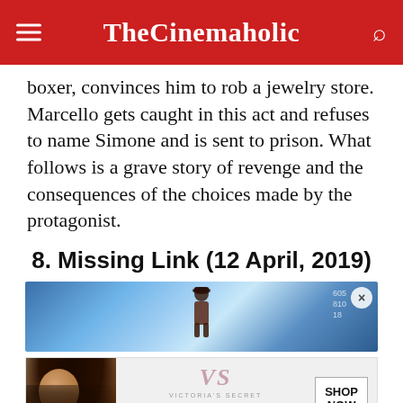TheCinemaholic
boxer, convinces him to rob a jewelry store. Marcello gets caught in this act and refuses to name Simone and is sent to prison. What follows is a grave story of revenge and the consequences of the choices made by the protagonist.
8. Missing Link (12 April, 2019)
[Figure (photo): Movie scene image showing a silhouetted figure against a blue mountain/icy background with a close button overlay]
[Figure (photo): Victoria's Secret advertisement banner showing a model with curly hair and the text SHOP THE COLLECTION with a SHOP NOW button]